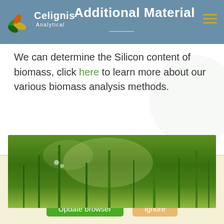Additional Material — Celignis Analytical
We can determine the Silicon content of biomass, click here to learn more about our various biomass analysis methods.
[Figure (photo): Close-up photo of green grass or plant blades, vivid green color with light spots]
Your web browser (iOS 11) is out of date. Update your browser for more security, speed and the best experience on this site.